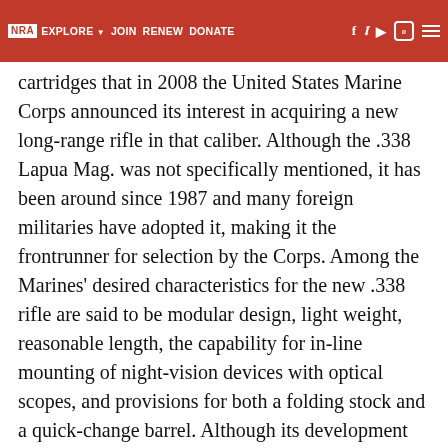NRA | EXPLORE | JOIN | RENEW | DONATE | [social icons] [hamburger menu]
cartridges that in 2008 the United States Marine Corps announced its interest in acquiring a new long-range rifle in that caliber. Although the .338 Lapua Mag. was not specifically mentioned, it has been around since 1987 and many foreign militaries have adopted it, making it the frontrunner for selection by the Corps. Among the Marines' desired characteristics for the new .338 rifle are said to be modular design, light weight, reasonable length, the capability for in-line mounting of night-vision devices with optical scopes, and provisions for both a folding stock and a quick-change barrel. Although its development actually began years ago, the Model 98B meets virtually all these criteria.
Barrett engineers started with a clean sheet of paper